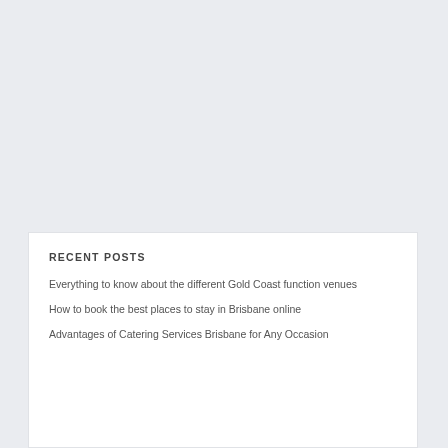RECENT POSTS
Everything to know about the different Gold Coast function venues
How to book the best places to stay in Brisbane online
Advantages of Catering Services Brisbane for Any Occasion